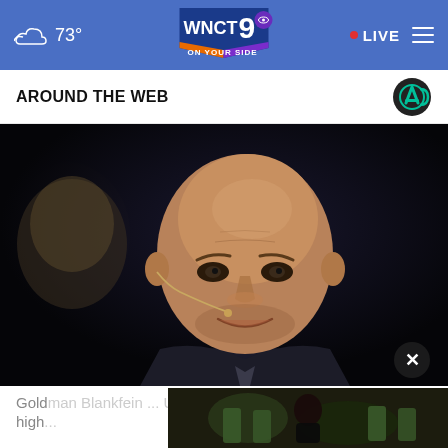☁ 73° | WNCT 9 ON YOUR SIDE | • LIVE
AROUND THE WEB
[Figure (photo): Bald man in dark suit with earpiece microphone speaking at event, photographed against dark background]
Goldman Blankfein ... US foreign ... high...